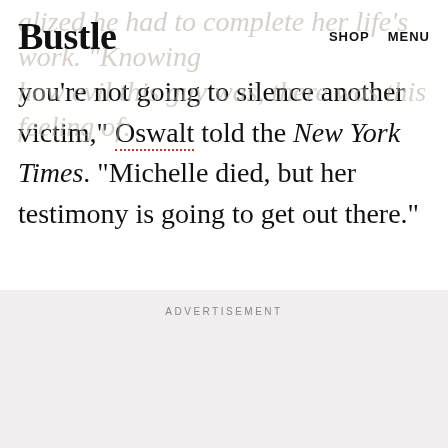Bustle   SHOP   MENU
you're not going to silence another victim," Oswalt told the New York Times. "Michelle died, but her testimony is going to get out there."
ADVERTISEMENT